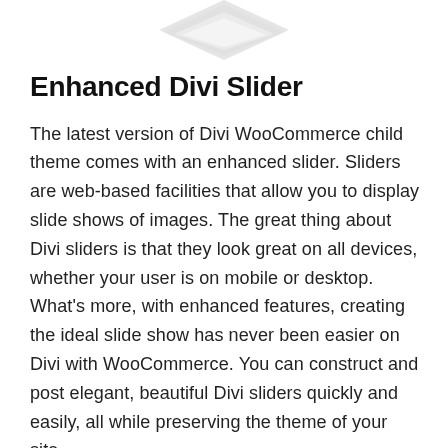[Figure (illustration): Partial view of a geometric/logo shape in grey tones at the top of the page, partially cropped]
Enhanced Divi Slider
The latest version of Divi WooCommerce child theme comes with an enhanced slider. Sliders are web-based facilities that allow you to display slide shows of images. The great thing about Divi sliders is that they look great on all devices, whether your user is on mobile or desktop. What's more, with enhanced features, creating the ideal slide show has never been easier on Divi with WooCommerce. You can construct and post elegant, beautiful Divi sliders quickly and easily, all while preserving the theme of your site.